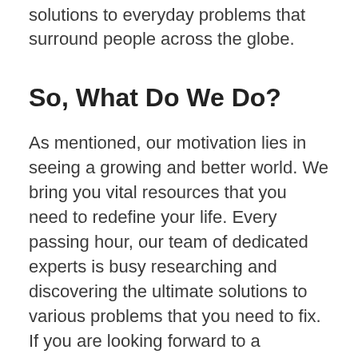solutions to everyday problems that surround people across the globe.
So, What Do We Do?
As mentioned, our motivation lies in seeing a growing and better world. We bring you vital resources that you need to redefine your life. Every passing hour, our team of dedicated experts is busy researching and discovering the ultimate solutions to various problems that you need to fix. If you are looking forward to a successful, all-round and happy life, then, you can trust us to light up the way for you.
We rank among the best consultants across the globe, as we live and breathe to serve you.